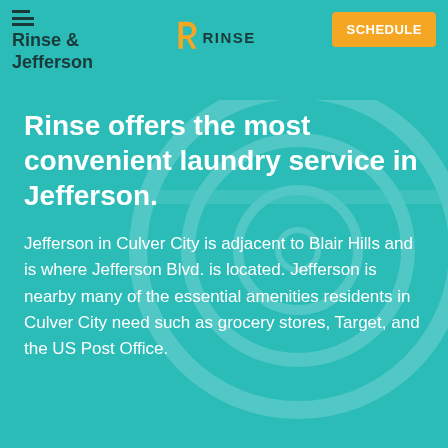Rinse & Jefferson
Rinse offers the most convenient laundry service in Jefferson.
Jefferson in Culver City is adjacent to Blair Hills and is where Jefferson Blvd. is located. Jefferson is nearby many of the essential amenities residents in Culver City need such as grocery stores, Target, and the US Post Office.